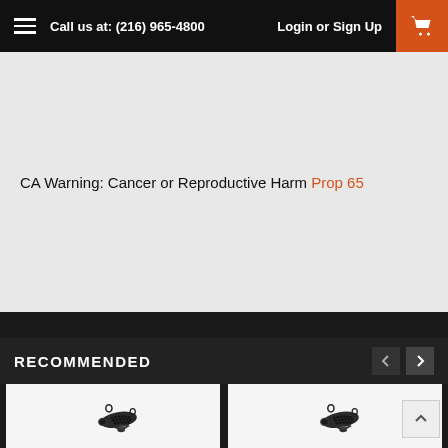Call us at: (216) 965-4800 | Login or Sign Up
CA Warning: Cancer or Reproductive Harm Prop 65
RECOMMENDED
[Figure (photo): Black automotive exhaust tip / muffler accessory with multiple circular holes arranged in rows, with mounting clamps]
[Figure (photo): Black automotive exhaust tip / muffler accessory with multiple circular holes arranged in rows, with mounting clamps (second product, same style)]